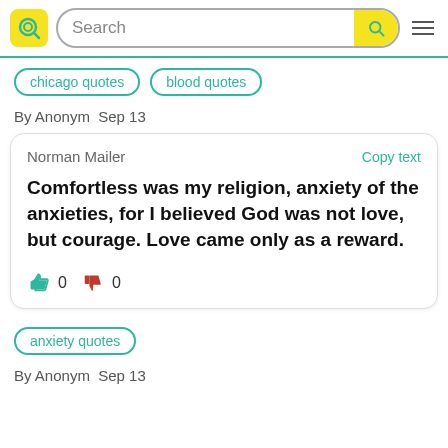Search
chicago quotes
blood quotes
By Anonym  Sep 13
Norman Mailer
Copy text
Comfortless was my religion, anxiety of the anxieties, for I believed God was not love, but courage. Love came only as a reward.
0  0
anxiety quotes
By Anonym  Sep 13